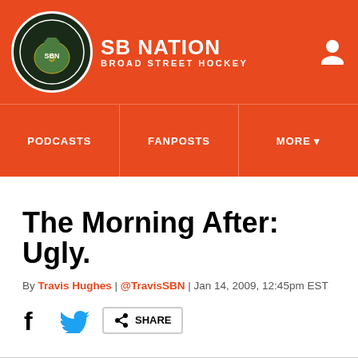SB NATION — BROAD STREET HOCKEY
PODCASTS | FANPOSTS | MORE
The Morning After: Ugly.
By Travis Hughes | @TravisSBN | Jan 14, 2009, 12:45pm EST
SHARE